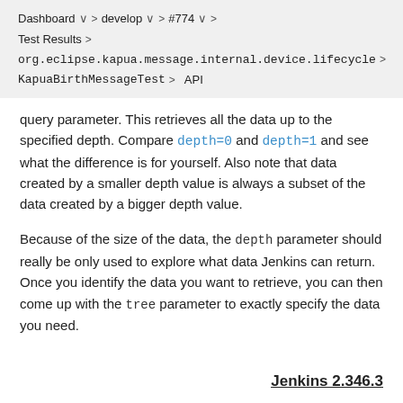Dashboard > develop > #774 > Test Results > org.eclipse.kapua.message.internal.device.lifecycle > KapuaBirthMessageTest > API
query parameter. This retrieves all the data up to the specified depth. Compare depth=0 and depth=1 and see what the difference is for yourself. Also note that data created by a smaller depth value is always a subset of the data created by a bigger depth value.
Because of the size of the data, the depth parameter should really be only used to explore what data Jenkins can return. Once you identify the data you want to retrieve, you can then come up with the tree parameter to exactly specify the data you need.
Jenkins 2.346.3